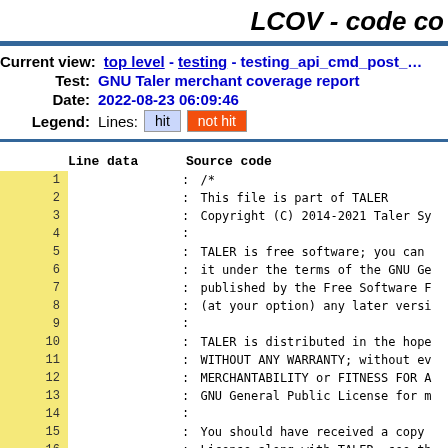LCOV - code co
Current view: top level - testing - testing_api_cmd_post_
Test: GNU Taler merchant coverage report
Date: 2022-08-23 06:09:46
Legend: Lines: hit  not hit
| Line data | Source code |
| --- | --- |
| 1 |  | /* |
| 2 |  |     This file is part of TALER |
| 3 |  |     Copyright (C) 2014-2021 Taler Sy |
| 4 |  |  |
| 5 |  |     TALER is free software; you can |
| 6 |  |     it under the terms of the GNU Ge |
| 7 |  |     published by the Free Software F |
| 8 |  |     (at your option) any later versi |
| 9 |  |  |
| 10 |  |     TALER is distributed in the hope |
| 11 |  |     WITHOUT ANY WARRANTY; without eve |
| 12 |  |     MERCHANTABILITY or FITNESS FOR A |
| 13 |  |     GNU General Public License for m |
| 14 |  |  |
| 15 |  |     You should have received a copy |
| 16 |  |     License along with TALER; see th |
| 17 |  |     <http://www.gnu.org/licenses/> |
| 18 |  |     */ |